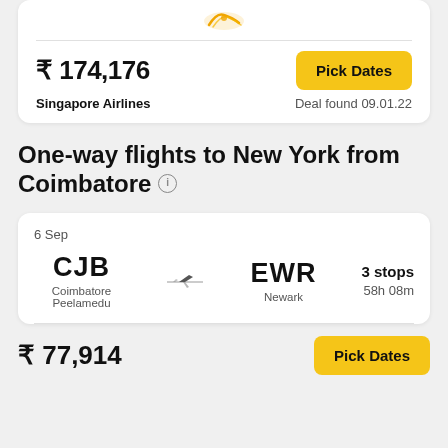[Figure (logo): Singapore Airlines logo (orange/yellow stylized bird icon)]
₹ 174,176
Singapore Airlines
Pick Dates
Deal found 09.01.22
One-way flights to New York from Coimbatore
6 Sep
CJB → EWR
Coimbatore Peelamedu
Newark
3 stops
58h 08m
₹ 77,914
Pick Dates